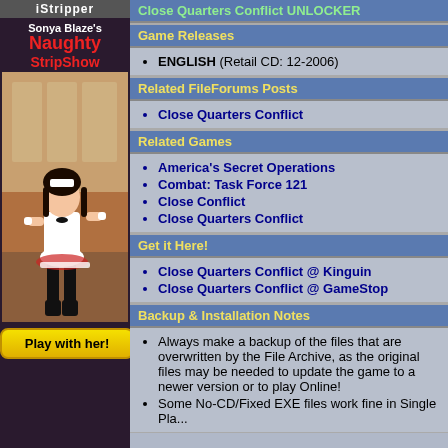[Figure (illustration): Left column advertisement for 'Stripper' game featuring Sonya Blaze's Naughty StripShow, showing a maid character illustration and a 'Play with her!' button]
Close Quarters Conflict UNLOCKER
Game Releases
ENGLISH (Retail CD: 12-2006)
Related FileForums Posts
Close Quarters Conflict
Related Games
America's Secret Operations
Combat: Task Force 121
Close Conflict
Close Quarters Conflict
Get it Here!
Close Quarters Conflict @ Kinguin
Close Quarters Conflict @ GameStop
Backup & Installation Notes
Always make a backup of the files that are overwritten by the File Archive, as the original files may be needed to update the game to a newer version or to play Online!
Some No-CD/Fixed EXE files work fine in Single Play...